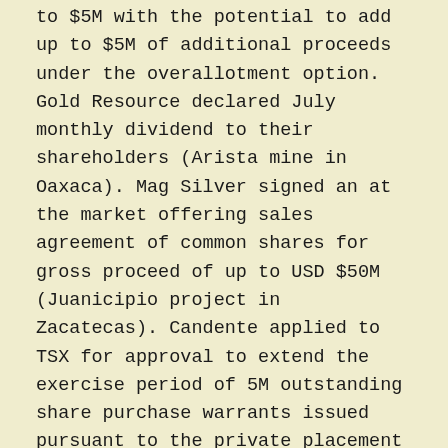to $5M with the potential to add up to $5M of additional proceeds under the overallotment option. Gold Resource declared July monthly dividend to their shareholders (Arista mine in Oaxaca). Mag Silver signed an at the market offering sales agreement of common shares for gross proceed of up to USD $50M (Juanicipio project in Zacatecas). Candente applied to TSX for approval to extend the exercise period of 5M outstanding share purchase warrants issued pursuant to the private placement completed on August 12, 2016. (El Oro property in Mexico State). Monarca Minerals announced that it is proposing to settle an aggregate of approximately $380.6K owing to certain officers and directors and services providers through the issuance of an aggregate of approximately 7,612,000 common shares at an issue price of CAD $0.05 (Tejamen